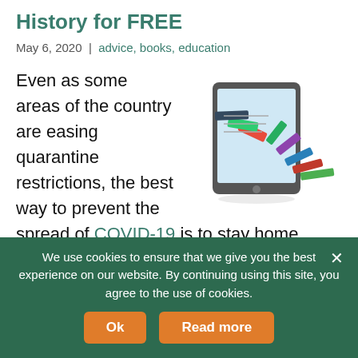History for FREE
May 6, 2020 | advice, books, education
[Figure (illustration): A tablet/iPad with colorful books falling out of it, illustrating digital reading and education.]
Even as some areas of the country are easing quarantine restrictions, the best way to prevent the spread of COVID-19 is to stay home. Although the United States has 4.25-percent of the world's population, it has 33.19-percent of the reported cases of the disease with a death rate
We use cookies to ensure that we give you the best experience on our website. By continuing using this site, you agree to the use of cookies.